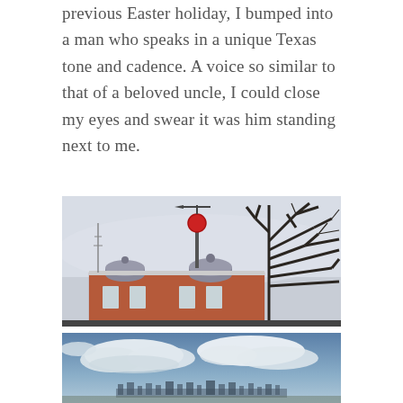previous Easter holiday, I bumped into a man who speaks in a unique Texas tone and cadence. A voice so similar to that of a beloved uncle, I could close my eyes and swear it was him standing next to me.
[Figure (photo): A historic observatory building with a red time ball on a mast, domed rooftops, and bare winter tree branches against a pale sky.]
[Figure (photo): A wide sky with white clouds over a distant city skyline seen from an elevated vantage point.]